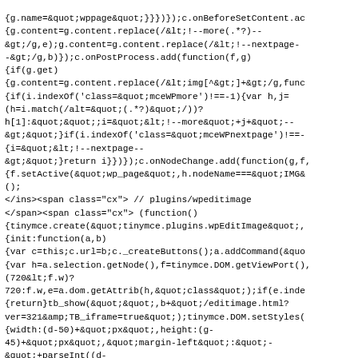{g.name=&quot;wppage&quot;}}})});c.onBeforeSetContent.add({g.content=g.content.replace(/&lt;!--more(.*?)--&gt;/g,e);g.content=g.content.replace(/&lt;!--nextpage--&gt;/g,b)});c.onPostProcess.add(function(f,g){if(g.get){g.content=g.content.replace(/&lt;img[^&gt;]+&gt;/g,function(i){if(i.indexOf('class=&quot;mceWPmore')!==-1){var h,j=(h=i.match(/alt=&quot;(.*?)&quot;/))? h[1]:&quot;&quot;;i=&quot;&lt;!--more&quot;+j+&quot;--&gt;&quot;}if(i.indexOf('class=&quot;mceWPnextpage')!==-1){i=&quot;&lt;!--nextpage--&gt;&quot;}return i})}}});c.onNodeChange.add(function(g,f,{f.setActive(&quot;wp_page&quot;,h.nodeName===&quot;IMG&amp;());  </ins><span class="cx"> // plugins/wpeditimage</span><span class="cx"> (function(){tinymce.create(&quot;tinymce.plugins.wpEditImage&quot;,{init:function(a,b){var c=this;c.url=b;c._createButtons();a.addCommand(&quot;{var h=a.selection.getNode(),f=tinymce.DOM.getViewPort(),(720&lt;f.w)?720:f.w,e=a.dom.getAttrib(h,&quot;class&quot;);if(e.index{return}tb_show(&quot;&quot;,b+&quot;/editimage.html?ver=321&amp;TB_iframe=true&quot;);tinymce.DOM.setStyles(&amp;{width:(d-50)+&quot;px&quot;,height:(g-45)+&quot;px&quot;,&quot;margin-left&quot;:&quot;-&quot;+parseInt((d-50)/2),10)+&quot;px&quot;});if(!tinymce.isIE6){tinymce.DOM.setStyles(&quot;TB_window&quot;,{top:&quot;20px&quot;,marginTop:&quot;0&quot;})}tinymce.[...